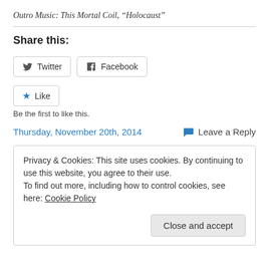Outro Music: This Mortal Coil, “Holocaust”
Share this:
[Figure (other): Twitter and Facebook share buttons, and a Like button with star icon. Below: 'Be the first to like this.']
Be the first to like this.
Thursday, November 20th, 2014    Leave a Reply
Privacy & Cookies: This site uses cookies. By continuing to use this website, you agree to their use.
To find out more, including how to control cookies, see here: Cookie Policy
Close and accept